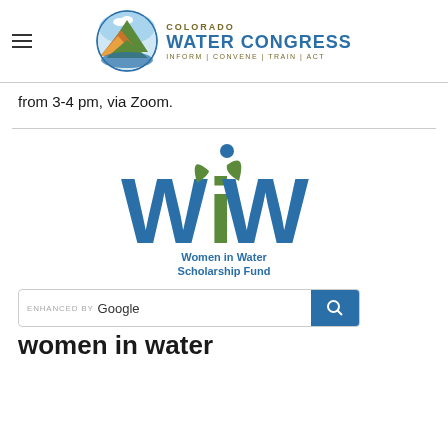Colorado Water Congress — INFORM | CONVENE | TRAIN | ACT
from 3-4 pm, via Zoom.
[Figure (logo): Women in Water Scholarship Fund logo with WiW text in blue and green with a figure and leaf design]
ENHANCED BY Google [search bar]
women in water